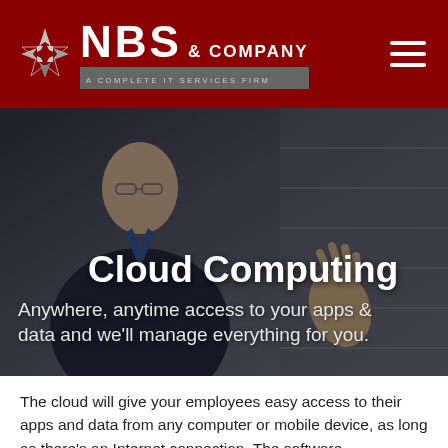NBS & COMPANY — A COMPLETE IT SERVICES FIRM
[Figure (screenshot): Hero image of a businessman with glasses in a dark setting, gesturing with his hand]
Cloud Computing
Anywhere, anytime access to your apps & data and we'll manage everything for you.
The cloud will give your employees easy access to their apps and data from any computer or mobile device, as long as there's an Internet connection. The software